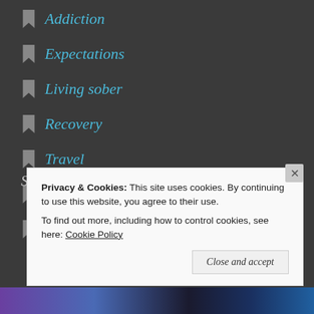Addiction
Expectations
Living sober
Recovery
Travel
Uncategorized
Website, Sober, Hope
Social
Privacy & Cookies: This site uses cookies. By continuing to use this website, you agree to their use.
To find out more, including how to control cookies, see here: Cookie Policy
Close and accept